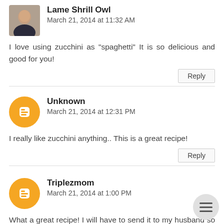Lame Shrill Owl
March 21, 2014 at 11:32 AM
I love using zucchini as "spaghetti" It is so delicious and good for you!
Unknown
March 21, 2014 at 12:31 PM
I really like zucchini anything.. This is a great recipe!
Triplezmom
March 21, 2014 at 1:00 PM
What a great recipe! I will have to send it to my husband so he can make it for me!